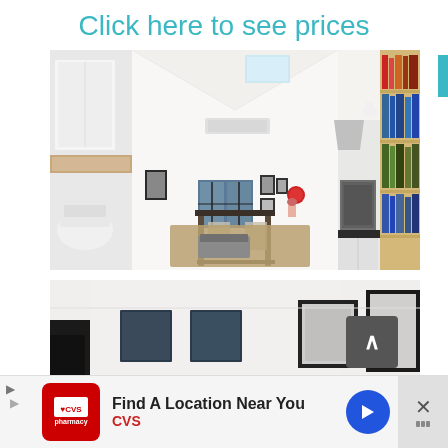Click here to see prices
[Figure (photo): Interior photo of a modern Scandinavian-style open plan apartment showing bathroom area on left, living/dining area in center with vaulted ceiling and skylights, and kitchen with bookshelf on right]
[Figure (photo): Partial interior photo showing windows with dark frames and framed artwork on wall]
Find A Location Near You
CVS